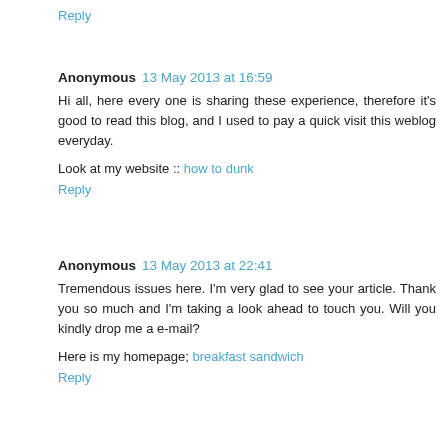Reply
Anonymous 13 May 2013 at 16:59
Hi all, here every one is sharing these experience, therefore it's good to read this blog, and I used to pay a quick visit this weblog everyday.
Look at my website :: how to dunk
Reply
Anonymous 13 May 2013 at 22:41
Tremendous issues here. I'm very glad to see your article. Thank you so much and I'm taking a look ahead to touch you. Will you kindly drop me a e-mail?
Here is my homepage; breakfast sandwich
Reply